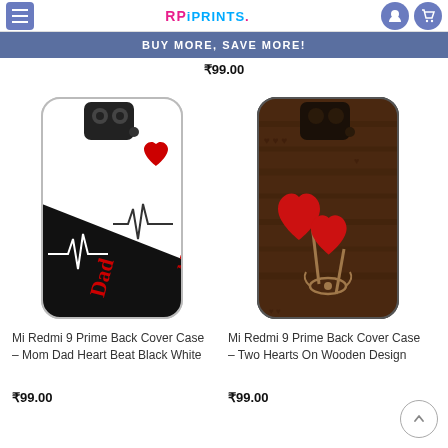≡ RP iPRINTS. [user icon] [cart icon]
BUY MORE, SAVE MORE!
₹99.00
[Figure (photo): Mi Redmi 9 Prime phone case with Mom Dad Heart Beat Black White design]
Mi Redmi 9 Prime Back Cover Case – Mom Dad Heart Beat Black White
₹99.00
[Figure (photo): Mi Redmi 9 Prime phone case with Two Hearts On Wooden Design]
Mi Redmi 9 Prime Back Cover Case – Two Hearts On Wooden Design
₹99.00